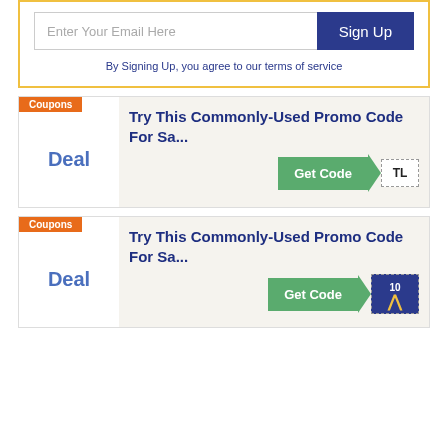Enter Your Email Here
Sign Up
By Signing Up, you agree to our terms of service
Coupons
Deal
Try This Commonly-Used Promo Code For Sa...
Get Code TL
Coupons
Deal
Try This Commonly-Used Promo Code For Sa...
Get Code 10